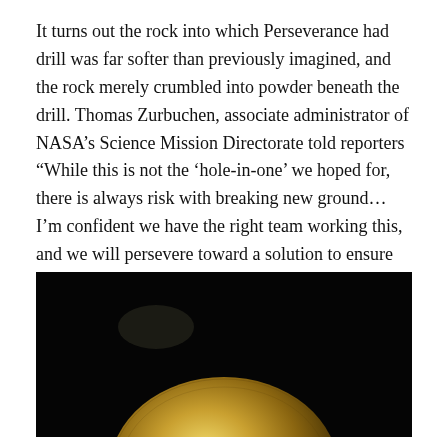It turns out the rock into which Perseverance had drill was far softer than previously imagined, and the rock merely crumbled into powder beneath the drill. Thomas Zurbuchen, associate administrator of NASA’s Science Mission Directorate told reporters “While this is not the ‘hole-in-one’ we hoped for, there is always risk with breaking new ground…I’m confident we have the right team working this, and we will persevere toward a solution to ensure future success.”
[Figure (photo): Dark photo showing a circular drill bit or rock sample tube against a black background, partially visible at the bottom of the frame with golden/sandy coloring.]
[Figure (other): Advertisement banner: Schedule an Appointment Today - Asurion Tech Repair & Solutions, with circular logo and blue diamond arrow icon.]